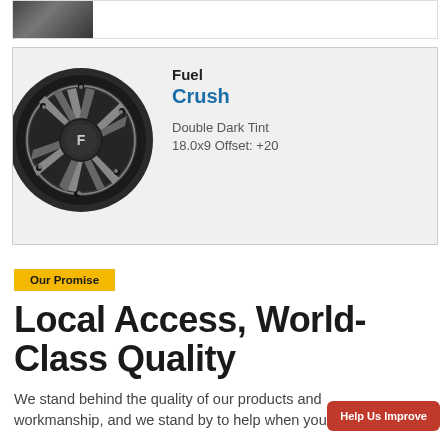[Figure (photo): Partial view of a wheel/tire product card at the top of the page, cropped]
[Figure (photo): Fuel Crush wheel in Double Dark Tint finish, black multi-spoke design with silver highlights, shown on light gray card background]
Fuel
Crush
Double Dark Tint
18.0x9 Offset: +20
Our Promise
Local Access, World-Class Quality
We stand behind the quality of our products and workmanship, and we stand by to help when you